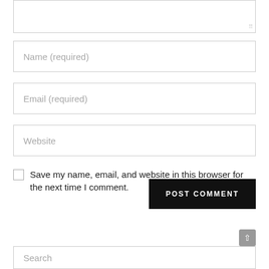[textarea - comment input box]
Name (required)
Email (required)
Website
Save my name, email, and website in this browser for the next time I comment.
POST COMMENT
Search